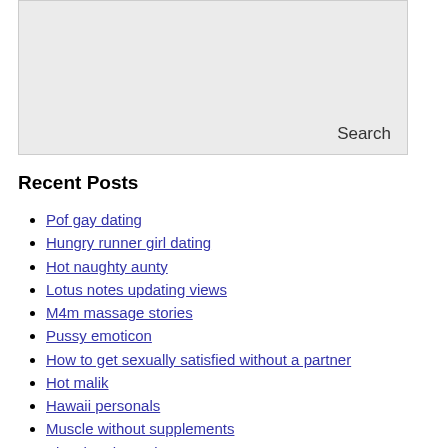[Figure (other): Search input box with 'Search' label at bottom right]
Recent Posts
Pof gay dating
Hungry runner girl dating
Hot naughty aunty
Lotus notes updating views
M4m massage stories
Pussy emoticon
How to get sexually satisfied without a partner
Hot malik
Hawaii personals
Muscle without supplements
Kim chambers pics
Pittsburgh transsexual
Pretty sexy bounty hunter illyria